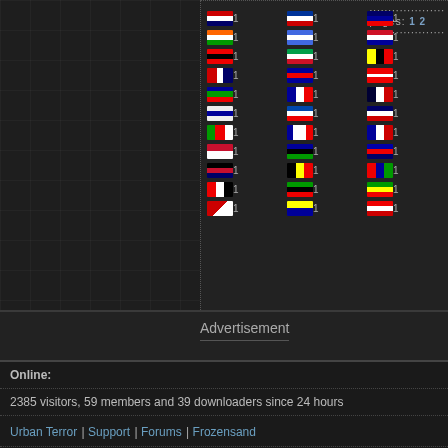[Figure (screenshot): Grid of country flags with count '1' next to each flag, arranged in 3 columns, with a pagination indicator showing pages 1 2]
pages: 1 2
Advertisement
Online:
2385 visitors, 59 members and 39 downloaders since 24 hours
Urban Terror | Support | Forums | Frozensand
Copyright © 1999-2022 Frozensand Games Limited  |  All rights reserved
Frozensand Games is a Limited company regis